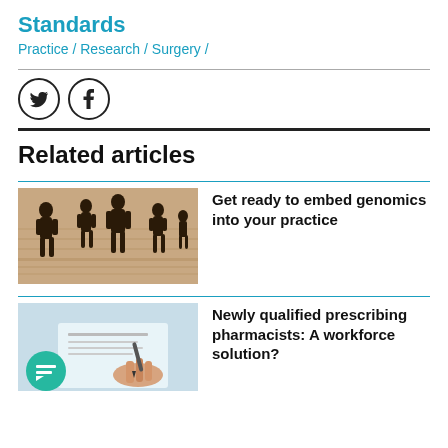Standards
Practice / Research / Surgery /
[Figure (other): Twitter and Facebook social share icons (circular buttons with bird and f symbols)]
Related articles
[Figure (photo): Sepia-toned image of silhouetted people figures standing on a DNA/genomics sequence background]
Get ready to embed genomics into your practice
[Figure (photo): Photo of a hand writing on paper with a teal chat bubble icon overlay in bottom left]
Newly qualified prescribing pharmacists: A workforce solution?